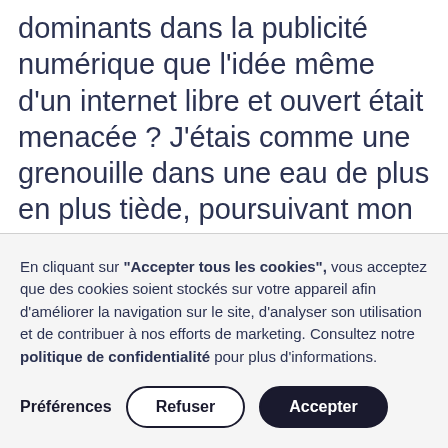dominants dans la publicité numérique que l'idée même d'un internet libre et ouvert était menacée ? J'étais comme une grenouille dans une eau de plus en plus tiède, poursuivant mon existence banale, jusqu'au jour où j'ai eu l'impression qu'il était presque trop tard.
En cliquant sur "Accepter tous les cookies", vous acceptez que des cookies soient stockés sur votre appareil afin d'améliorer la navigation sur le site, d'analyser son utilisation et de contribuer à nos efforts de marketing. Consultez notre politique de confidentialité pour plus d'informations.
Préférences  Refuser  Accepter